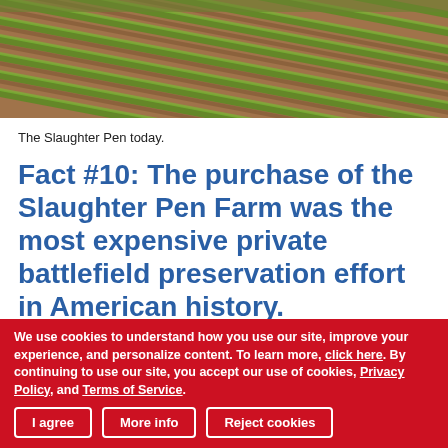[Figure (photo): Aerial/ground-level view of plowed farm field with green crop rows on brown soil — The Slaughter Pen Farm today.]
The Slaughter Pen today.
Fact #10: The purchase of the Slaughter Pen Farm was the most expensive private battlefield preservation effort in American history.
When development threatened the 208-acre Slaughter Pen Farm, the Civil War Trust, partnering with Tricord, Inc.,
We use cookies to understand how you use our site, improve your experience, and personalize content. To learn more, click here. By continuing to use our site, you accept our use of cookies, Privacy Policy, and Terms of Service.